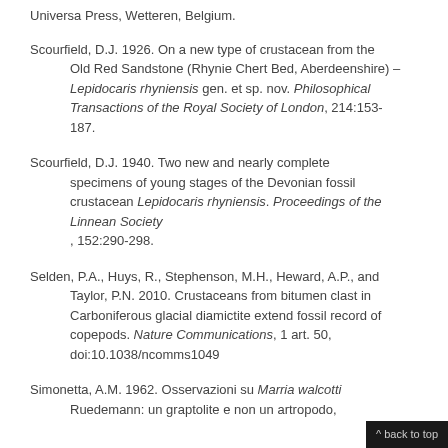Universa Press, Wetteren, Belgium.
Scourfield, D.J. 1926. On a new type of crustacean from the Old Red Sandstone (Rhynie Chert Bed, Aberdeenshire) – Lepidocaris rhyniensis gen. et sp. nov. Philosophical Transactions of the Royal Society of London, 214:153-187.
Scourfield, D.J. 1940. Two new and nearly complete specimens of young stages of the Devonian fossil crustacean Lepidocaris rhyniensis. Proceedings of the Linnean Society, 152:290-298.
Selden, P.A., Huys, R., Stephenson, M.H., Heward, A.P., and Taylor, P.N. 2010. Crustaceans from bitumen clast in Carboniferous glacial diamictite extend fossil record of copepods. Nature Communications, 1 art. 50, doi:10.1038/ncomms1049
Simonetta, A.M. 1962. Osservazioni su Marria walcotti Ruedemann: un graptolite e non un artropodo,
^ back to top